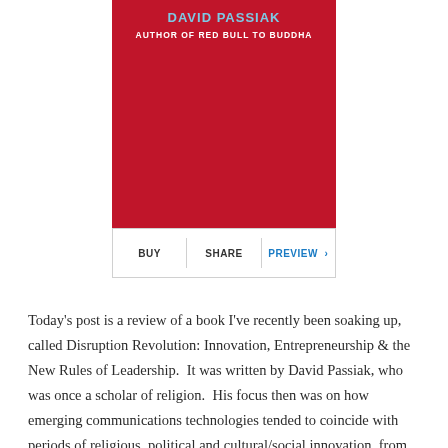[Figure (other): Book cover banner in dark red/crimson with author name in light blue text and subtitle in white. Text reads 'DAVID PASSIAK' and 'AUTHOR OF RED BULL TO BUDDHA'.]
[Figure (screenshot): Action bar with BUY, SHARE, and PREVIEW (in blue with chevron) buttons separated by vertical dividers.]
Today's post is a review of a book I've recently been soaking up, called Disruption Revolution: Innovation, Entrepreneurship & the New Rules of Leadership.  It was written by David Passiak, who was once a scholar of religion.  His focus then was on how emerging communications technologies tended to coincide with periods of religious, political and cultural/social innovation, from the "Great Awakenings" of the 1700s and 1800s catalyzed by innovations in the printing press, through the Civil Rights and Sixties